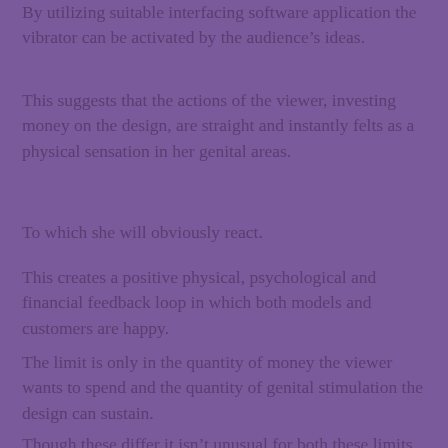By utilizing suitable interfacing software application the vibrator can be activated by the audience’s ideas.
This suggests that the actions of the viewer, investing money on the design, are straight and instantly felts as a physical sensation in her genital areas.
To which she will obviously react.
This creates a positive physical, psychological and financial feedback loop in which both models and customers are happy.
The limit is only in the quantity of money the viewer wants to spend and the quantity of genital stimulation the design can sustain.
Though these differ it isn’t unusual for both these limits to be really high and successfully unrestricted.
Designs likewise offer private shows in which a viewer gets unique